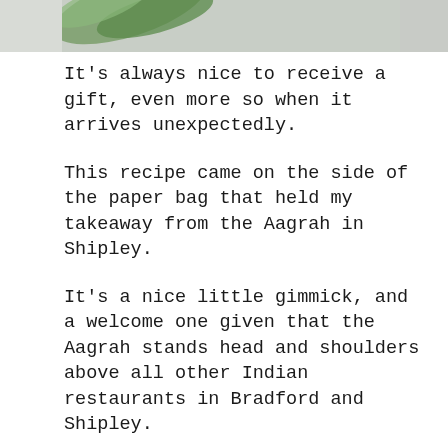[Figure (photo): Partial photo at top of page showing green vegetable or herb against a light/grey background, cropped at top]
It's always nice to receive a gift, even more so when it arrives unexpectedly.
This recipe came on the side of the paper bag that held my takeaway from the Aagrah in Shipley.
It's a nice little gimmick, and a welcome one given that the Aagrah stands head and shoulders above all other Indian restaurants in Bradford and Shipley.
Their food is simply excellent, so having one of their recipes fall into my hands is a bit like a mini Christmas for me.
As with all Indian cooking, the list of ingredients is